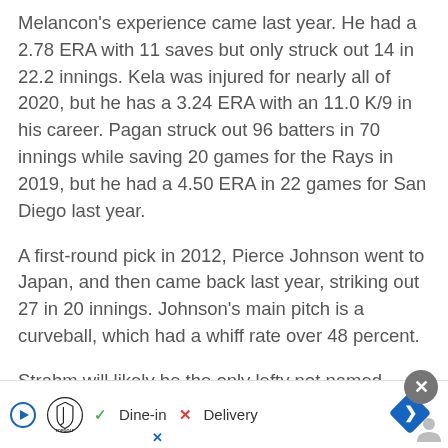Melancon's experience came last year. He had a 2.78 ERA with 11 saves but only struck out 14 in 22.2 innings. Kela was injured for nearly all of 2020, but he has a 3.24 ERA with an 11.0 K/9 in his career. Pagan struck out 96 batters in 70 innings while saving 20 games for the Rays in 2019, but he had a 4.50 ERA in 22 games for San Diego last year.
A first-round pick in 2012, Pierce Johnson went to Japan, and then came back last year, striking out 27 in 20 innings. Johnson's main pitch is a curveball, which had a whiff rate over 48 percent.
Strahm will likely be the only lefty not named Pomeranz, and he had a 2.61 ERA last year.
The veteran Stammen has had some amazing seasons with the Nationals and Padres, but 2020 was
[Figure (other): Advertisement bar at the bottom showing Topgolf logo with play button, dine-in checkmark and delivery X options, a blue navigation diamond arrow, a grey close button, and a small person/profile icon.]